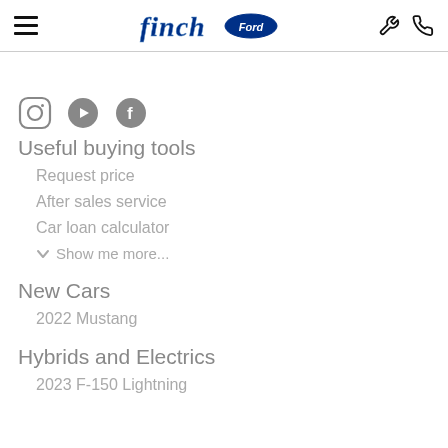finch Ford — navigation header with hamburger menu, logo, wrench icon, phone icon
[Figure (logo): Social media icons: Instagram, YouTube, Facebook]
Useful buying tools
Request price
After sales service
Car loan calculator
Show me more...
New Cars
2022 Mustang
Hybrids and Electrics
2023 F-150 Lightning